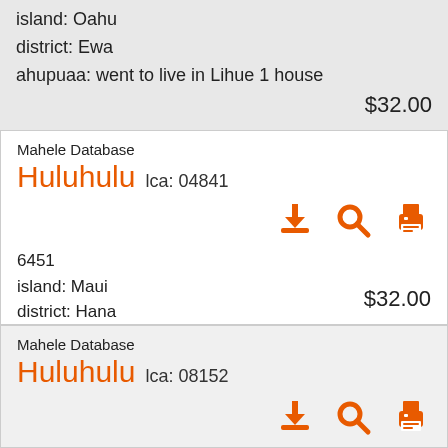island: Oahu
district: Ewa
ahupuaa: went to live in Lihue 1 house
$32.00
Mahele Database
Huluhulu  lca: 04841
[Figure (infographic): Three orange icons: download, search (magnifying glass), and print]
6451
island: Maui
district: Hana
ahupuaa: four living on this land
$32.00
Mahele Database
Huluhulu  lca: 08152
[Figure (infographic): Three orange icons: download, search (magnifying glass), and print (partially visible)]